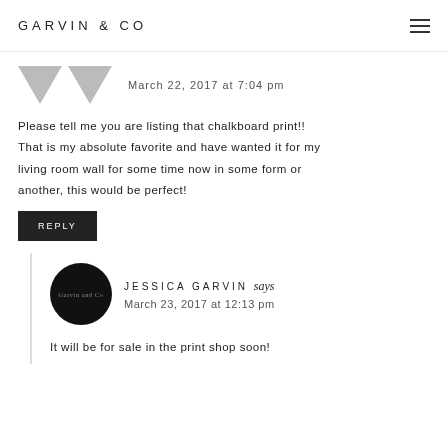GARVIN & CO
March 22, 2017 at 7:04 pm
Please tell me you are listing that chalkboard print!! That is my absolute favorite and have wanted it for my living room wall for some time now in some form or another, this would be perfect!
REPLY
JESSICA GARVIN says
March 23, 2017 at 12:13 pm
It will be for sale in the print shop soon!